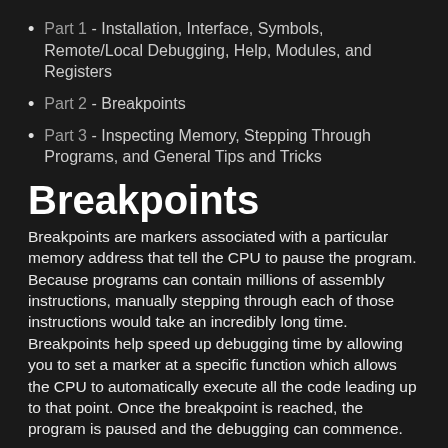Part 1 - Installation, Interface, Symbols, Remote/Local Debugging, Help, Modules, and Registers
Part 2 - Breakpoints
Part 3 - Inspecting Memory, Stepping Through Programs, and General Tips and Tricks
Breakpoints
Breakpoints are markers associated with a particular memory address that tell the CPU to pause the program. Because programs can contain millions of assembly instructions, manually stepping through each of those instructions would take an incredibly long time. Breakpoints help speed up debugging time by allowing you to set a marker at a specific function which allows the CPU to automatically execute all the code leading up to that point. Once the breakpoint is reached, the program is paused and the debugging can commence.